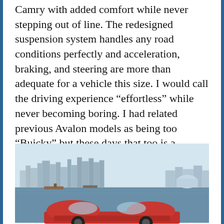Camry with added comfort while never stepping out of line. The redesigned suspension system handles any road conditions perfectly and acceleration, braking, and steering are more than adequate for a vehicle this size. I would call the driving experience “effortless” while never becoming boring. I had related previous Avalon models as being too “Buicky” but these days that too is a compliment and this 2019 Avalon is enjoyable as the most recent big Buick mid-premium sedan I had tested, with style points being awarded to the Toyota.
[Figure (photo): A red Toyota Avalon sedan photographed by a waterfront with a city skyline in the background under a light blue sky.]